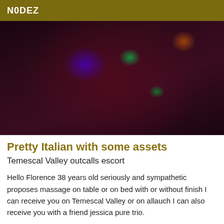N0DEZ
[Figure (photo): Dark nightclub-style photograph with colorful light spots (blue, green) visible against a dark reddish-purple background]
Pretty Italian with some assets
Temescal Valley outcalls escort
Hello Florence 38 years old seriously and sympathetic proposes massage on table or on bed with or without finish I can receive you on Temescal Valley or on allauch I can also receive you with a friend jessica pure trio.